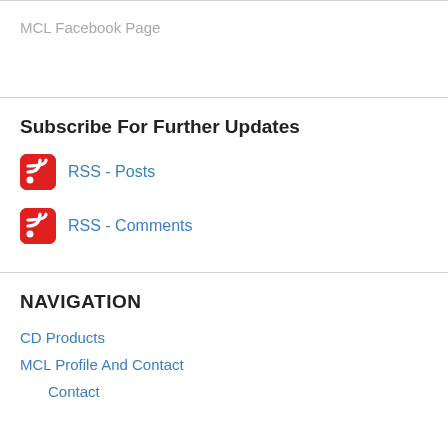MCL Facebook Page
Subscribe For Further Updates
RSS - Posts
RSS - Comments
NAVIGATION
CD Products
MCL Profile And Contact
Contact